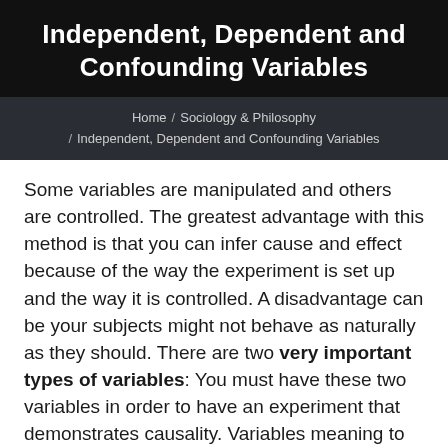Independent, Dependent and Confounding Variables
Home / Sociology & Philosophy / Independent, Dependent and Confounding Variables
Some variables are manipulated and others are controlled. The greatest advantage with this method is that you can infer cause and effect because of the way the experiment is set up and the way it is controlled. A disadvantage can be your subjects might not behave as naturally as they should. There are two very important types of variables: You must have these two variables in order to have an experiment that demonstrates causality. Variables meaning to vary, something that can be changed.
For tion stances to a dvright that...